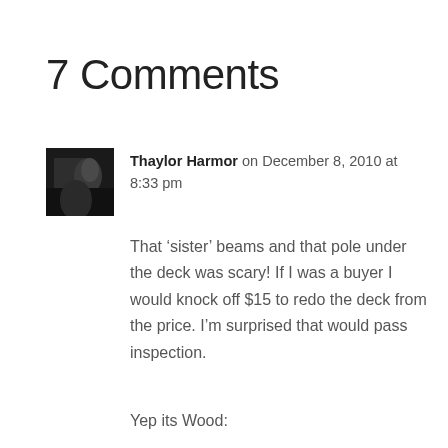7 Comments
Thaylor Harmor on December 8, 2010 at 8:33 pm
That ‘sister’ beams and that pole under the deck was scary! If I was a buyer I would knock off $15 to redo the deck from the price. I’m surprised that would pass inspection.
Yep its Wood: